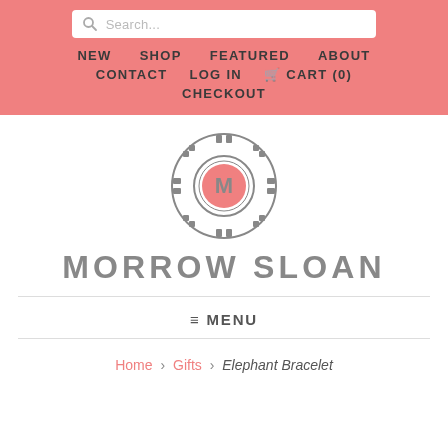NEW  SHOP  FEATURED  ABOUT  CONTACT  LOG IN  CART (0)  CHECKOUT
[Figure (logo): Morrow Sloan circular logo with letter M in center and geometric border pattern, with text MORROW SLOAN below]
≡ MENU
Home › Gifts › Elephant Bracelet